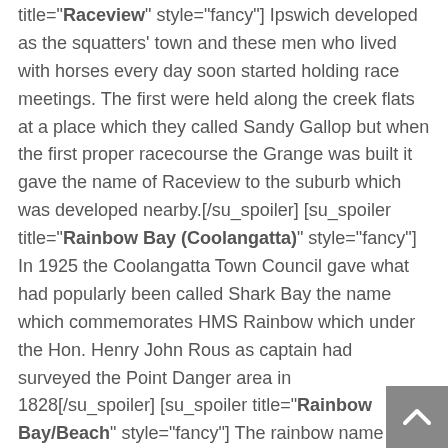title="Raceview" style="fancy"] Ipswich developed as the squatters' town and these men who lived with horses every day soon started holding race meetings. The first were held along the creek flats at a place which they called Sandy Gallop but when the first proper racecourse the Grange was built it gave the name of Raceview to the suburb which was developed nearby.[/su_spoiler] [su_spoiler title="Rainbow Bay (Coolangatta)" style="fancy"] In 1925 the Coolangatta Town Council gave what had popularly been called Shark Bay the name which commemorates HMS Rainbow which under the Hon. Henry John Rous as captain had surveyed the Point Danger area in 1828[/su_spoiler] [su_spoiler title="Rainbow Bay/Beach" style="fancy"] The rainbow name was suggested by the tall multi-coloured sand cliffs along the coast here. [/su_spoiler] [su_spoiler title="Rainbow Channel" style="fancy"]Named after HMS Rainbow.[/su_spoiler] [su_spoiler title="Rainworth" style="fancy"] The suburb of Rainworth gained its name from the house built by Augustus Gregory, the explorer who was appointed Queensland's first Surveyor-General. [/su_spoiler]

[su_spoiler title="Ransome" style="fancy"] M.C.H.Ransome a firewood business at Lota and procured his supplies from t